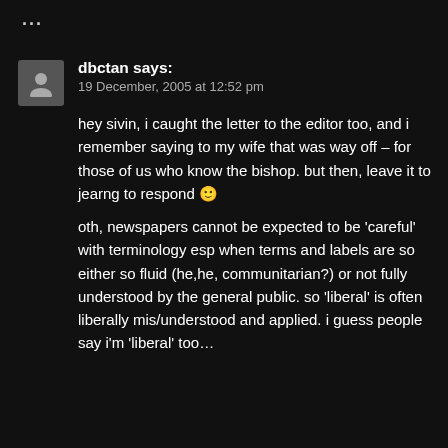...
dbctan says:
19 December, 2005 at 12:52 pm
hey sivin, i caught the letter to the editor too, and i remember saying to my wife that was way off – for those of us who know the bishop. but then, leave it to jearng to respond 🙂

oth, newspapers cannot be expected to be 'careful' with terminology esp when terms and labels are so either so fluid (he,he, communitarian?) or not fully understood by the general public. so 'liberal' is often liberally mis/understood and applied. i guess people say i'm 'liberal' too…